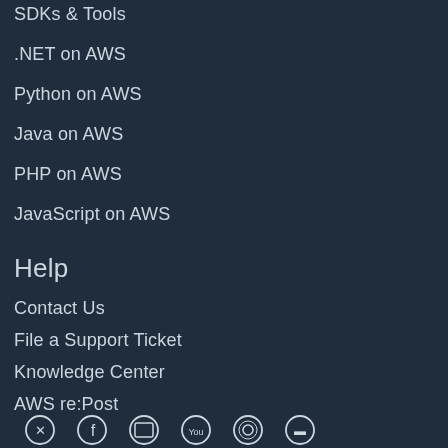SDKs & Tools
.NET on AWS
Python on AWS
Java on AWS
PHP on AWS
JavaScript on AWS
Help
Contact Us
File a Support Ticket
Knowledge Center
AWS re:Post
AWS Support Overview
Legal
AWS Careers
[Figure (illustration): Row of social media and AWS icons at bottom of page]